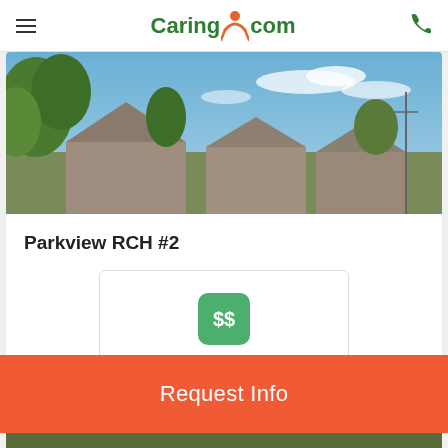Caring.com navigation header
[Figure (photo): Outdoor street view photo showing trees, blue sky with clouds, and residential rooftops in a suburban neighborhood.]
Parkview RCH #2
[Figure (infographic): Get Cost Details card with green dollar sign icon and text 'Get Cost Details']
Request Info